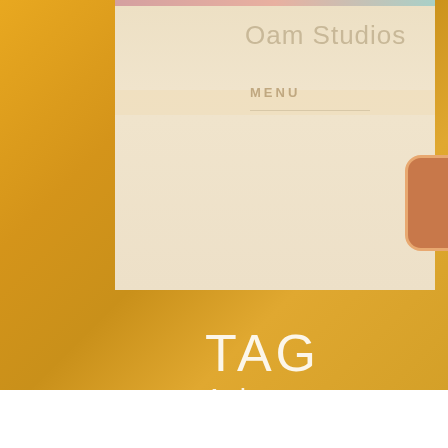[Figure (screenshot): Screenshot of Oam Studios website header with a teal clock icon button and orange cancel icon button, a MENU navigation label, and an orange tooltip bubble saying 'holidays closed' with a pushpin icon]
TAG
Asha